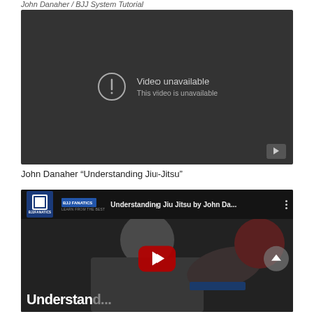John Danaher / BJJ System Tutorial
[Figure (screenshot): YouTube video player showing 'Video unavailable - This video is unavailable' error message on dark background with YouTube icon in corner]
John Danaher "Understanding Jiu-Jitsu"
[Figure (screenshot): YouTube video thumbnail for 'Understanding Jiu Jitsu by John Da...' from BJJ Fanatics channel, showing a bald man performing a jiu-jitsu technique, with YouTube play button overlay and 'Understan...' text at bottom]